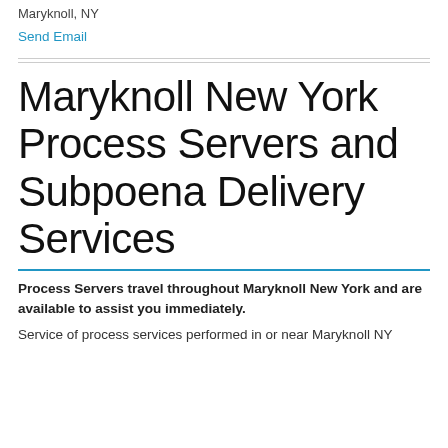Maryknoll, NY
Send Email
Maryknoll New York Process Servers and Subpoena Delivery Services
Process Servers travel throughout Maryknoll New York and are available to assist you immediately.
Service of process services performed in or near Maryknoll NY